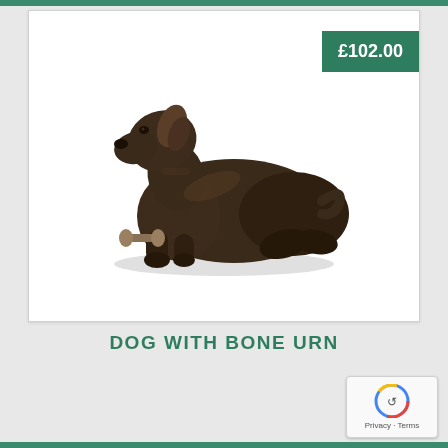[Figure (photo): Bronze-colored dog figurine (labrador-style) lying down with a bone, used as an urn. The sculpture has dark bronze patina finish.]
£102.00
DOG WITH BONE URN